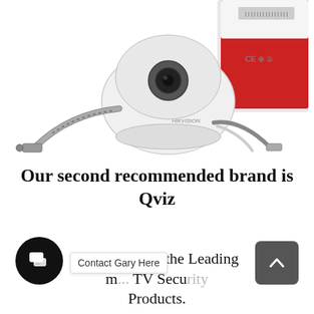[Figure (photo): Photo of a white dome security camera with cables and connectors, with a red product box partially visible in the background]
Our second recommended brand is Qviz
Qvis is one of the Leading m... TV Security Products.